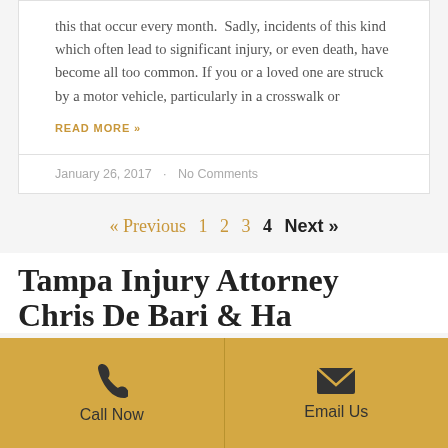this that occur every month.  Sadly, incidents of this kind which often lead to significant injury, or even death, have become all too common. If you or a loved one are struck by a motor vehicle, particularly in a crosswalk or
READ MORE »
January 26, 2017  ·  No Comments
« Previous  1  2  3  4  Next »
Tampa Injury Attorney
Call Now
Email Us